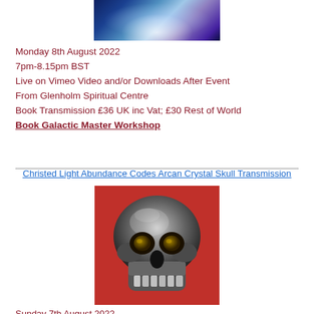[Figure (photo): Abstract blue and purple cosmic light image at top center]
Monday 8th August 2022
7pm-8.15pm BST
Live on Vimeo Video and/or Downloads After Event
From Glenholm Spiritual Centre
Book Transmission £36 UK inc Vat; £30 Rest of World
Book Galactic Master Workshop
Christed Light Abundance Codes Arcan Crystal Skull Transmission
[Figure (photo): A metallic/hematite crystal skull resting on a red cloth surface]
Sunday 7th August 2022